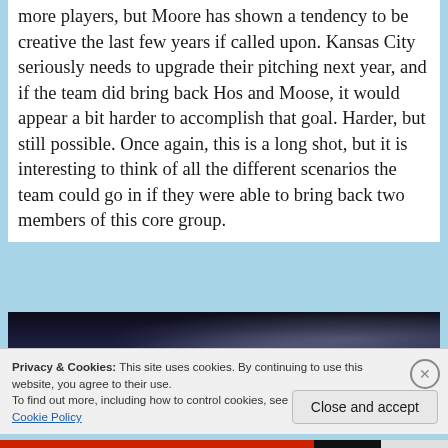more players, but Moore has shown a tendency to be creative the last few years if called upon. Kansas City seriously needs to upgrade their pitching next year, and if the team did bring back Hos and Moose, it would appear a bit harder to accomplish that goal. Harder, but still possible. Once again, this is a long shot, but it is interesting to think of all the different scenarios the team could go in if they were able to bring back two members of this core group.
[Figure (photo): Dark photo of a crowd at a baseball stadium, players visible in background with blue and white uniforms]
Privacy & Cookies: This site uses cookies. By continuing to use this website, you agree to their use.
To find out more, including how to control cookies, see here: Cookie Policy
Close and accept